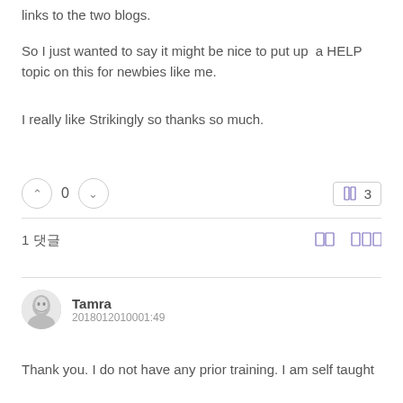links to the two blogs.
So I just wanted to say it might be nice to put up  a HELP topic on this for newbies like me.
I really like Strikingly so thanks so much.
0
3
1 댓글
Tamra
2018012010001:49
Thank you. I do not have any prior training. I am self taught